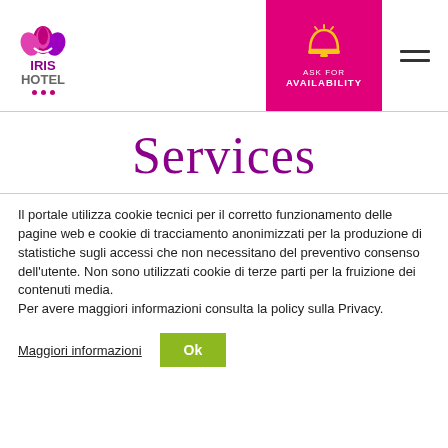[Figure (logo): Iris Hotel logo with purple flower/lotus icon, IRIS in purple and HOTEL in gray, three pink dots below]
[Figure (infographic): Pink/magenta box with yellow bell/cloche icon, text 'ASK FOR AVAILABILITY' in white]
[Figure (other): Hamburger menu icon with two horizontal lines]
Services
Il portale utilizza cookie tecnici per il corretto funzionamento delle pagine web e cookie di tracciamento anonimizzati per la produzione di statistiche sugli accessi che non necessitano del preventivo consenso dell'utente. Non sono utilizzati cookie di terze parti per la fruizione dei contenuti media.
Per avere maggiori informazioni consulta la policy sulla Privacy.
Maggiori informazioni
Ok